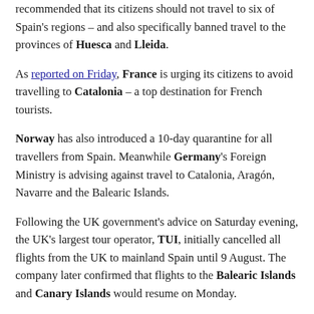recommended that its citizens should not travel to six of Spain's regions – and also specifically banned travel to the provinces of Huesca and Lleida.
As reported on Friday, France is urging its citizens to avoid travelling to Catalonia – a top destination for French tourists.
Norway has also introduced a 10-day quarantine for all travellers from Spain. Meanwhile Germany's Foreign Ministry is advising against travel to Catalonia, Aragón, Navarre and the Balearic Islands.
Following the UK government's advice on Saturday evening, the UK's largest tour operator, TUI, initially cancelled all flights from the UK to mainland Spain until 9 August. The company later confirmed that flights to the Balearic Islands and Canary Islands would resume on Monday.